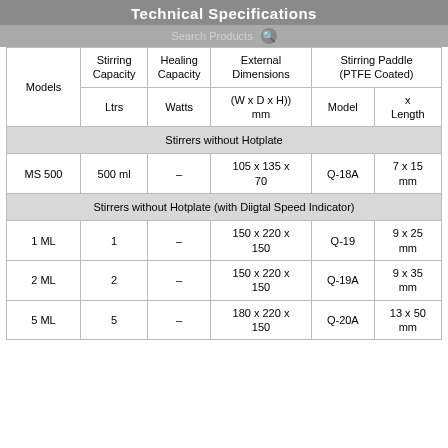Technical Specifications
| Models | Stirring Capacity | Healing Capacity | External Dimensions | Stirring Paddle (PTFE Coated) Model | Stirring Paddle (PTFE Coated) x Length |
| --- | --- | --- | --- | --- | --- |
|  | Ltrs | Watts | (W x D x H)) mm | Model | x Length |
| Stirrers without Hotplate |  |  |  |  |  |
| MS 500 | 500 ml | – | 105 x 135 x 70 | Q-18A | 7 x 15 mm |
| Stirrers without Hotplate (with Diigtal Speed Indicator) |  |  |  |  |  |
| 1 ML | 1 | – | 150 x 220 x 150 | Q-19 | 9 x 25 mm |
| 2 ML | 2 | – | 150 x 220 x 150 | Q-19A | 9 x 35 mm |
| 5 ML | 5 | – | 180 x 220 x 150 | Q-20A | 13 x 50 mm |